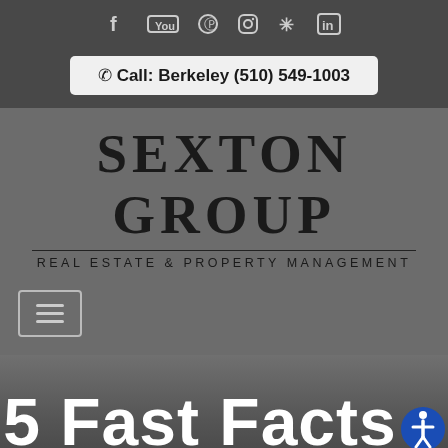[Figure (other): Social media icons row: Facebook, YouTube, Pinterest, Instagram, Yelp, LinkedIn]
Call: Berkeley (510) 549-1003
[Figure (logo): Sexton Group Real Estate & Property Management logo with large serif text and horizontal rule]
[Figure (other): Hamburger menu button (three horizontal lines in a rectangle border)]
5 Fast Facts